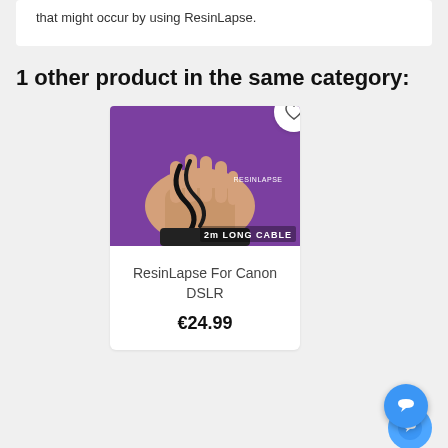that might occur by using ResinLapse.
1 other product in the same category:
[Figure (photo): A hand holding a black 2m long cable against a purple background, with the ResinLapse logo and text '2m LONG CABLE' overlaid on the image. A heart/wishlist icon appears in the top-right corner.]
ResinLapse For Canon DSLR
€24.99